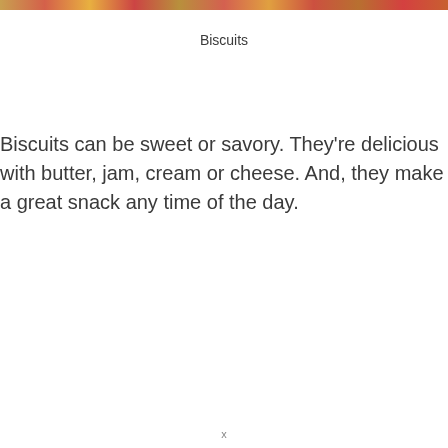[Figure (photo): Colorful food photo banner at top of page showing biscuits and accompaniments]
Biscuits
Biscuits can be sweet or savory. They're delicious with butter, jam, cream or cheese. And, they make a great snack any time of the day.
x